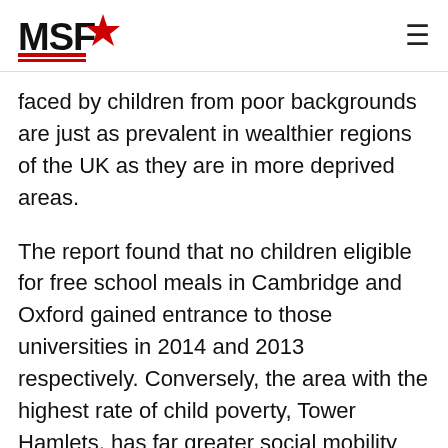MSF [logo]
faced by children from poor backgrounds are just as prevalent in wealthier regions of the UK as they are in more deprived areas.
The report found that no children eligible for free school meals in Cambridge and Oxford gained entrance to those universities in 2014 and 2013 respectively. Conversely, the area with the highest rate of child poverty, Tower Hamlets, has far greater social mobility with 39% of children going on to attend university in contrast to only 15% in